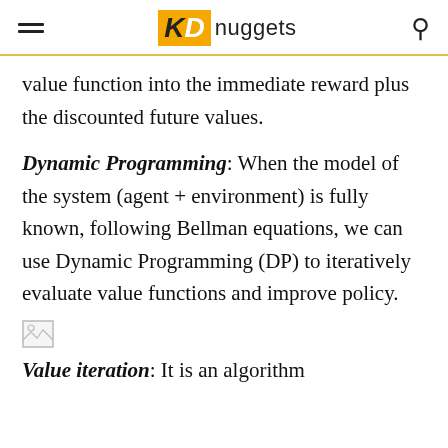KD nuggets
value function into the immediate reward plus the discounted future values.
Dynamic Programming: When the model of the system (agent + environment) is fully known, following Bellman equations, we can use Dynamic Programming (DP) to iteratively evaluate value functions and improve policy.
[Figure (other): Broken/placeholder image thumbnail]
Value iteration: It is an algorithm